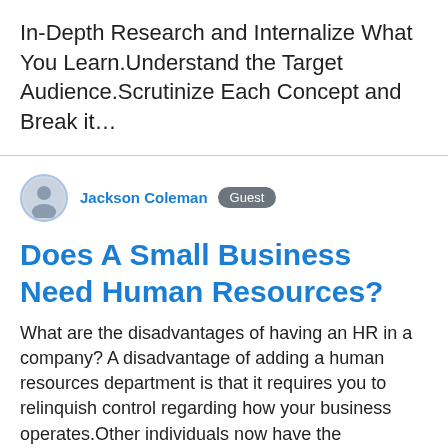In-Depth Research and Internalize What You Learn.Understand the Target Audience.Scrutinize Each Concept and Break it…
[Figure (illustration): Circular avatar icon of a person, with a blue border]
Jackson Coleman  Guest
Does A Small Business Need Human Resources?
What are the disadvantages of having an HR in a company? A disadvantage of adding a human resources department is that it requires you to relinquish control regarding how your business operates.Other individuals now have the responsibility for making important decisions in key areas, including hiring and personnel relations.. Can the owner of a company be HR? To deal with many of the employee-related